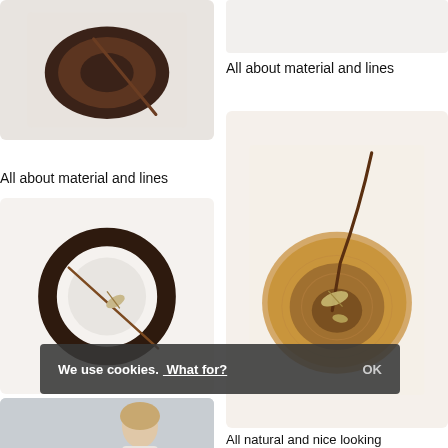[Figure (photo): Top-left: wooden bowl/hat with stem viewed from above on white background]
[Figure (photo): Top-right: white/grey empty background rectangle]
All about material and lines
All about material and lines
[Figure (photo): Dark circular wooden ring/plate with dried plant stem on white background]
[Figure (photo): Right large: wooden bowl with dried botanical and leather cord, overhead view]
Beautiful and cool plate setting option
[Figure (photo): Bottom-left: woman with short blonde hair and a bowl of vegetables]
All natural and nice looking
We use cookies. What for? OK